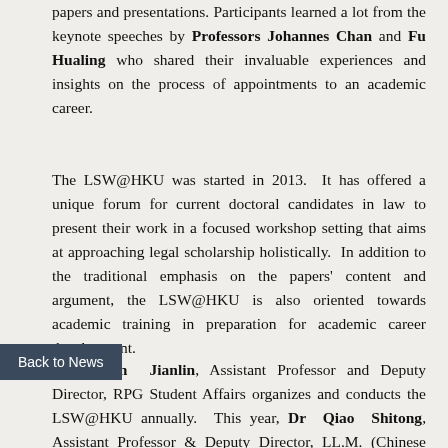papers and presentations. Participants learned a lot from the keynote speeches by Professors Johannes Chan and Fu Hualing who shared their invaluable experiences and insights on the process of appointments to an academic career.
The LSW@HKU was started in 2013. It has offered a unique forum for current doctoral candidates in law to present their work in a focused workshop setting that aims at approaching legal scholarship holistically. In addition to the traditional emphasis on the papers' content and argument, the LSW@HKU is also oriented towards academic training in preparation for academic career development.
Dr Chen Jianlin, Assistant Professor and Deputy Director, RPG Student Affairs organizes and conducts the LSW@HKU annually. This year, Dr Qiao Shitong, Assistant Professor & Deputy Director, LL.M. (Chinese Law), who was also an inaugural presenter of LSW@HKU, co-organized the event and provided insightful questions to the presenters.